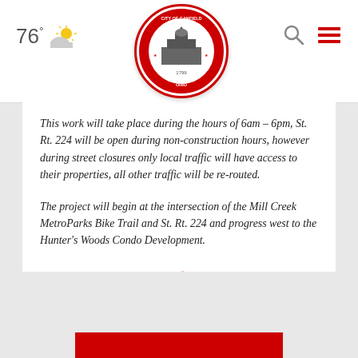76° [weather icon] [City of Canfield Ohio seal] [search icon] [menu icon]
This work will take place during the hours of 6am – 6pm, St. Rt. 224 will be open during non-construction hours, however during street closures only local traffic will have access to their properties, all other traffic will be re-routed.
The project will begin at the intersection of the Mill Creek MetroParks Bike Trail and St. Rt. 224 and progress west to the Hunter's Woods Condo Development.
SHARE: [Facebook] [Twitter] [Email]